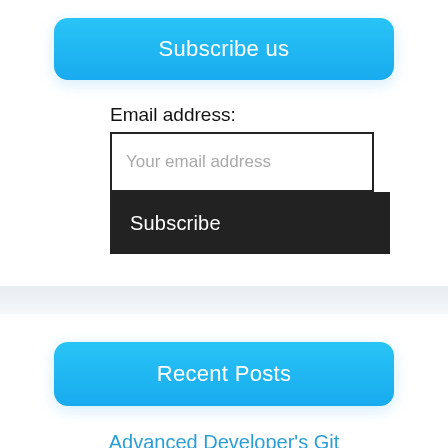Subscribe us
Email address:
Your email address
Subscribe
Recent Posts
Advanced Developer's Git tutorials and Latest Questions &